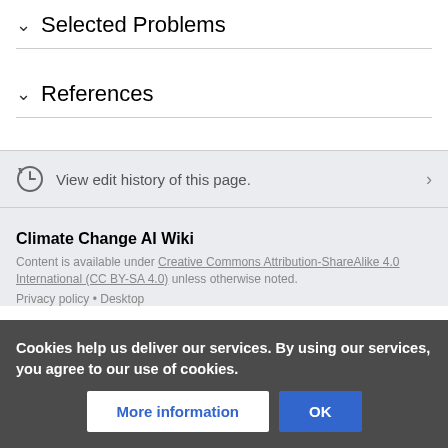Selected Problems
References
View edit history of this page.
Climate Change AI Wiki
Content is available under Creative Commons Attribution-ShareAlike 4.0 International (CC BY-SA 4.0) unless otherwise noted.
Privacy policy • Desktop
Cookies help us deliver our services. By using our services, you agree to our use of cookies.